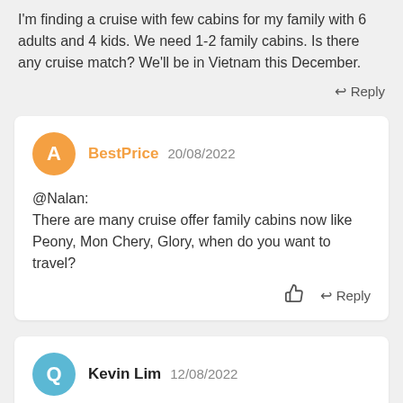I'm finding a cruise with few cabins for my family with 6 adults and 4 kids. We need 1-2 family cabins. Is there any cruise match? We'll be in Vietnam this December.
↩ Reply
BestPrice  20/08/2022
@Nalan:
There are many cruise offer family cabins now like Peony, Mon Chery, Glory, when do you want to travel?
👍  ↩ Reply
Kevin Lim  12/08/2022
We have 2 adults and 3 kids (9y, 6y, and 2y), and